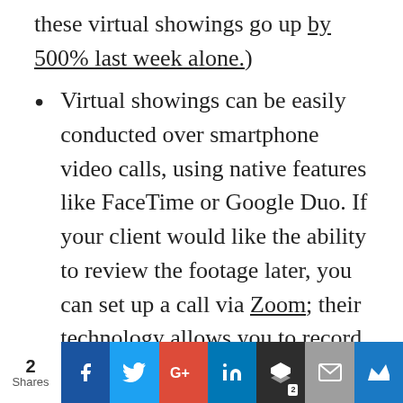these virtual showings go up by 500% last week alone.)
Virtual showings can be easily conducted over smartphone video calls, using native features like FaceTime or Google Duo. If your client would like the ability to review the footage later, you can set up a call via Zoom; their technology allows you to record video footage and save it locally or the cloud
2 Shares  [Facebook] [Twitter] [Google+] [LinkedIn] [Buffer 2] [Email] [Crown]